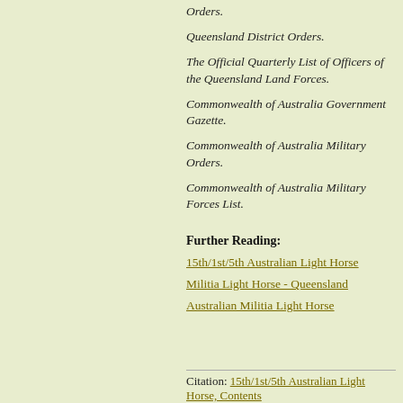Orders.
Queensland District Orders.
The Official Quarterly List of Officers of the Queensland Land Forces.
Commonwealth of Australia Government Gazette.
Commonwealth of Australia Military Orders.
Commonwealth of Australia Military Forces List.
Further Reading:
15th/1st/5th Australian Light Horse
Militia Light Horse - Queensland
Australian Militia Light Horse
Citation: 15th/1st/5th Australian Light Horse, Contents